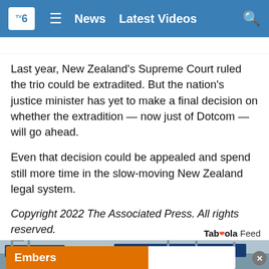TV6  ≡  News  Latest Videos  🔍
Last year, New Zealand's Supreme Court ruled the trio could be extradited. But the nation's justice minister has yet to make a final decision on whether the extradition — now just of Dotcom — will go ahead.
Even that decision could be appealed and spend still more time in the slow-moving New Zealand legal system.
Copyright 2022 The Associated Press. All rights reserved.
Taboola Feed
[Figure (photo): Port scene with cranes, ships, and rows of vehicles. MSC ship visible. Advertisement banner overlay at bottom reading 'Embers'.]